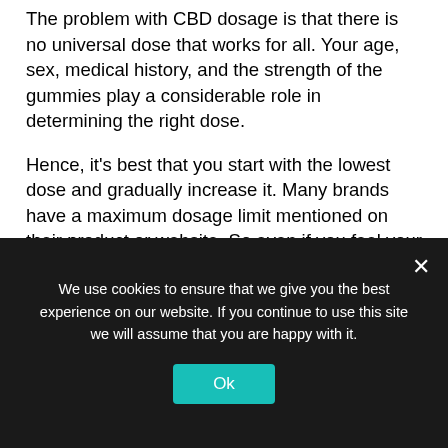The problem with CBD dosage is that there is no universal dose that works for all. Your age, sex, medical history, and the strength of the gummies play a considerable role in determining the right dose.
Hence, it's best that you start with the lowest dose and gradually increase it. Many brands have a maximum dosage limit mentioned on their product or website. So even if you feel your body can handle a higher dose, be sure never to cross that limit.
People on permanent medication for other health problems should consult their doctors before
We use cookies to ensure that we give you the best experience on our website. If you continue to use this site we will assume that you are happy with it.